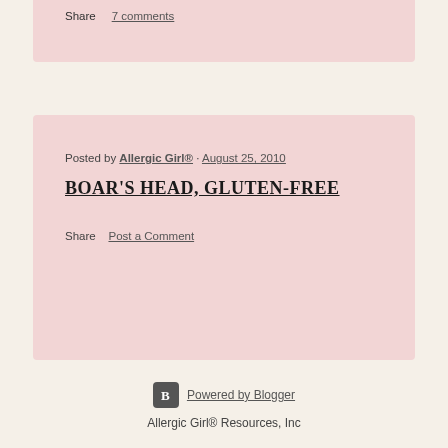Share    7 comments
Posted by Allergic Girl®  · August 25, 2010
BOAR'S HEAD, GLUTEN-FREE
Share    Post a Comment
Powered by Blogger
Allergic Girl® Resources, Inc